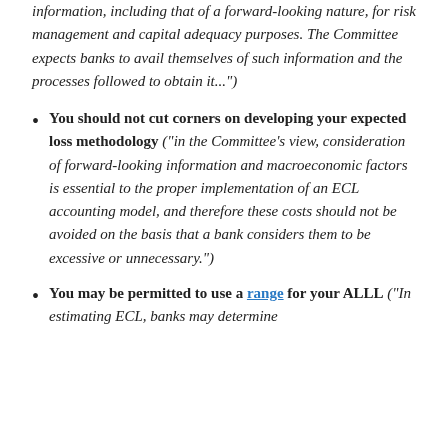information, including that of a forward-looking nature, for risk management and capital adequacy purposes. The Committee expects banks to avail themselves of such information and the processes followed to obtain it...
You should not cut corners on developing your expected loss methodology ("in the Committee's view, consideration of forward-looking information and macroeconomic factors is essential to the proper implementation of an ECL accounting model, and therefore these costs should not be avoided on the basis that a bank considers them to be excessive or unnecessary.")
You may be permitted to use a range for your ALLL ("In estimating ECL, banks may determine